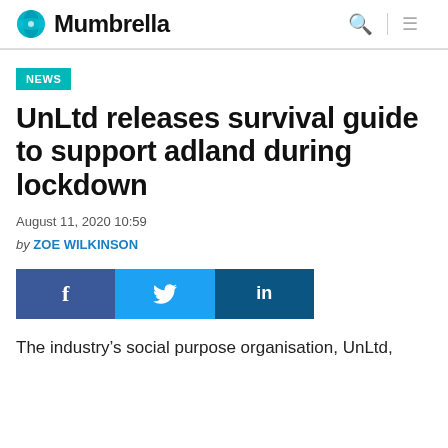Mumbrella
NEWS
UnLtd releases survival guide to support adland during lockdown
August 11, 2020 10:59
by ZOE WILKINSON
[Figure (other): Social sharing buttons: Facebook, Twitter, LinkedIn]
The industry's social purpose organisation, UnLtd,